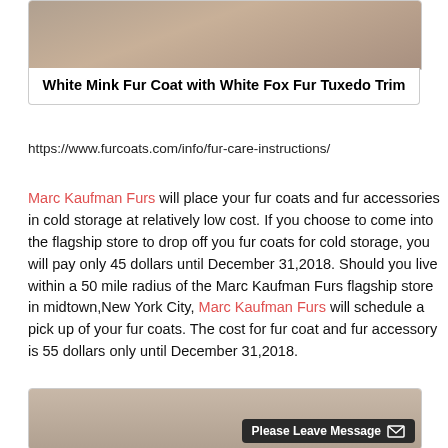[Figure (photo): Top portion of a person wearing a white mink fur coat with brown shoes visible, cropped image]
White Mink Fur Coat with White Fox Fur Tuxedo Trim
https://www.furcoats.com/info/fur-care-instructions/
Marc Kaufman Furs will place your fur coats and fur accessories in cold storage at relatively low cost. If you choose to come into the flagship store to drop off you fur coats for cold storage, you will pay only 45 dollars until December 31,2018. Should you live within a 50 mile radius of the Marc Kaufman Furs flagship store in midtown,New York City, Marc Kaufman Furs will schedule a pick up of your fur coats. The cost for fur coat and fur accessory is 55 dollars only until December 31,2018.
[Figure (photo): Bottom portion showing a person wearing a fur coat, partially visible, with a dark message badge overlay reading Please Leave Message]